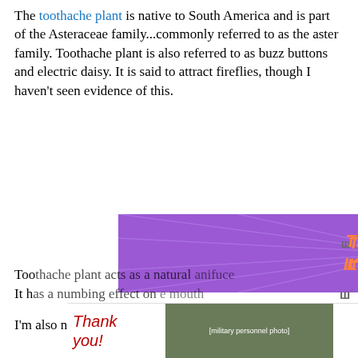The toothache plant is native to South America and is part of the Asteraceae family...commonly referred to as the aster family. Toothache plant is also referred to as buzz buttons and electric daisy. It is said to attract fireflies, though I haven't seen evidence of this.
[Figure (screenshot): Purple advertisement banner reading 'This isn't forever. It's just right now.' in orange italic bold text on a purple background with ray pattern. Has a close X button in top right corner.]
I'm also not sitting out with it all night, so who knows!
Toothache plant is a tender perennial that only gets to be about a foot tall, but sprawls about twice that in length. The leaves can be eaten in small amounts in salads and they lose their strong taste once cooked. The petal-less flowers are the interesting part though.
[Figure (screenshot): Advertisement banner for Operation Gratitude showing 'Thank you!' text with patriotic imagery and military personnel photos.]